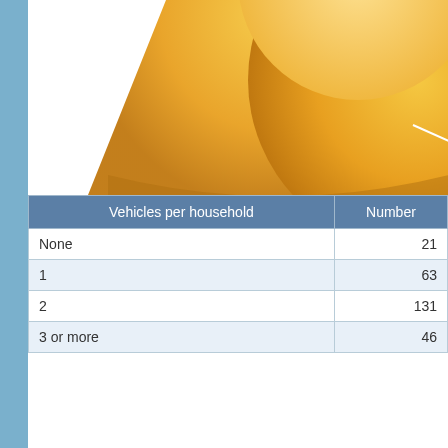[Figure (pie-chart): Partial view of a pie/donut chart showing vehicle usage data, cropped at top of page. Orange/gold colored segments visible.]
| Vehicles per household | Number |
| --- | --- |
| None | 21 |
| 1 | 63 |
| 2 | 131 |
| 3 or more | 46 |
Additional Vehicle Usage Reports
Percentage of Households with at least one Vehicle in North Dakota by City
Percentage of Households with at least two Vehicles in North Dakota by City
Download Data